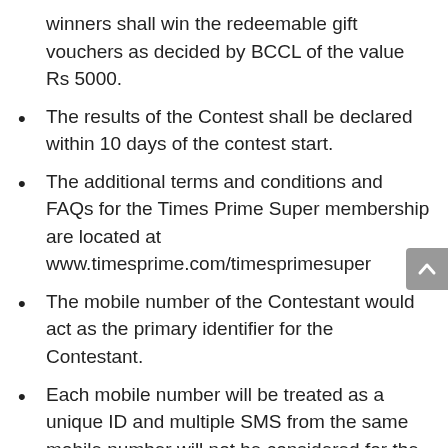winners shall win the redeemable gift vouchers as decided by BCCL of the value Rs 5000.
The results of the Contest shall be declared within 10 days of the contest start.
The additional terms and conditions and FAQs for the Times Prime Super membership are located at www.timesprime.com/timesprimesuper
The mobile number of the Contestant would act as the primary identifier for the Contestant.
Each mobile number will be treated as a unique ID and multiple SMS from the same mobile number will not be considered for the Contest.
One personal identification proof ie. PAN Card shall be eligible for one Prize only.
The decision of the BCCL will be final and binding